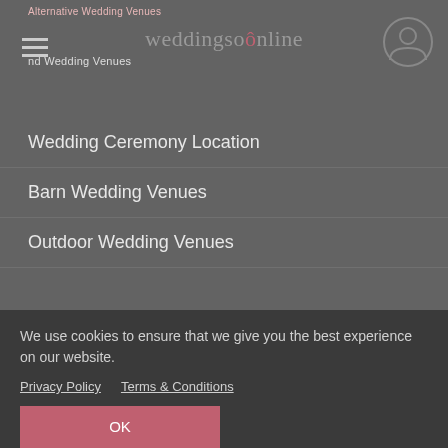weddingsonline
Wedding Ceremony Location
Barn Wedding Venues
Outdoor Wedding Venues
Small Wedding Venues
Wedding Guest Accommodation
Destination Wedding Venues
Marquee Hire
Find Suppliers
We use cookies to ensure that we give you the best experience on our website. Privacy Policy   Terms & Conditions